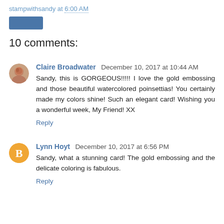stampwithsandy at 6:00 AM
[Figure (other): Blue rectangular button]
10 comments:
Claire Broadwater December 10, 2017 at 10:44 AM
Sandy, this is GORGEOUS!!!!! I love the gold embossing and those beautiful watercolored poinsettias! You certainly made my colors shine! Such an elegant card! Wishing you a wonderful week, My Friend! XX
Reply
Lynn Hoyt December 10, 2017 at 6:56 PM
Sandy, what a stunning card! The gold embossing and the delicate coloring is fabulous.
Reply